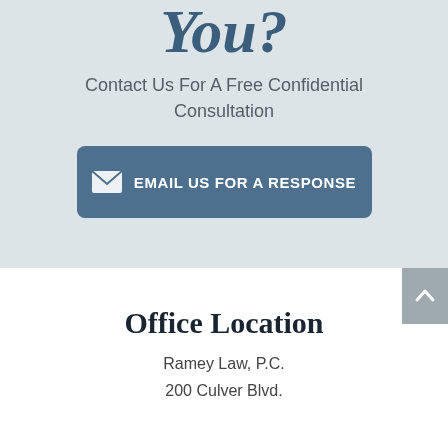You?
Contact Us For A Free Confidential Consultation
[Figure (other): Blue button with envelope icon and text EMAIL US FOR A RESPONSE]
[Figure (other): Gray scroll-to-top button with upward chevron arrow]
Office Location
Ramey Law, P.C.
200 Culver Blvd.